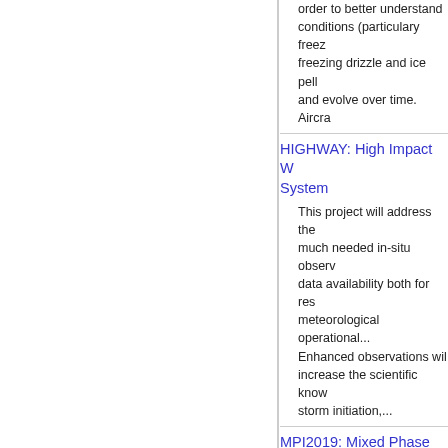order to better understand conditions (particulary free... freezing drizzle and ice pell... and evolve over time. Aircra...
HIGHWAY: High Impact W... System
This project will address the... much needed in-situ observ... data availability both for res... meteorological operational... Enhanced observations wil... increase the scientific know... storm initiation,...
MPI2019: Mixed Phase Iso...
Scientific relevance Ice cry... supercooled liquid droplets... simultaneously in mixed-ph... As a result, precipitation ma... distinct pathways. Water va... atmosphere can deposit di... tiny particulates called ice...
Meso18-19: Verification of Rotation in Tornadoes EXp... Southeast (VORTEX-SE) I...
The VORTEX-SE Scientifio... Committe determined that i... desirable to conduct observ...